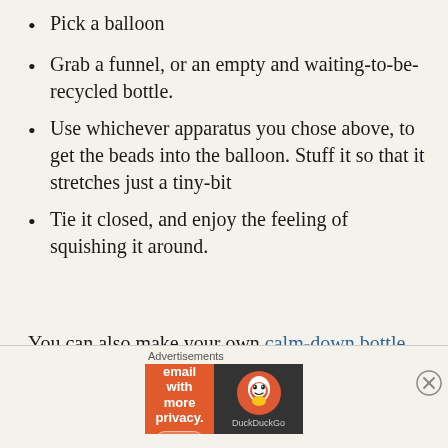Pick a balloon
Grab a funnel, or an empty and waiting-to-be-recycled bottle.
Use whichever apparatus you chose above, to get the beads into the balloon. Stuff it so that it stretches just a tiny-bit
Tie it closed, and enjoy the feeling of squishing it around.
You can also make your own calm-down bottle (or sensory bottle). Ours are available on Etsy, if you choose not to make your own. `In my own house, my daughter knows that when she is asked to take a
Advertisements
[Figure (screenshot): DuckDuckGo advertisement banner: orange left panel with text 'Search, browse, and email with more privacy. All in One Free App' and dark right panel with DuckDuckGo logo and text 'DuckDuckGo']